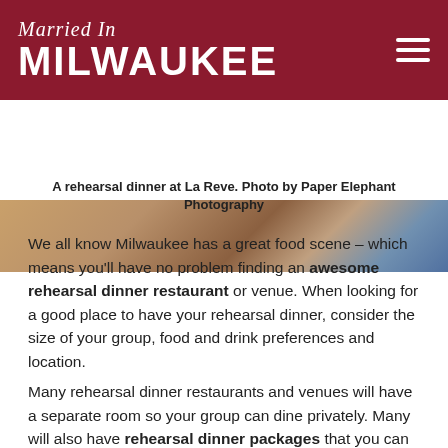Married In MILWAUKEE
[Figure (photo): A rehearsal dinner table setting at La Reve restaurant, showing place settings and guests in the background.]
A rehearsal dinner at La Reve. Photo by Paper Elephant Photography
We all know Milwaukee has a great food scene – which means you'll have no problem finding an awesome rehearsal dinner restaurant or venue. When looking for a good place to have your rehearsal dinner, consider the size of your group, food and drink preferences and location.
Many rehearsal dinner restaurants and venues will have a separate room so your group can dine privately. Many will also have rehearsal dinner packages that you can